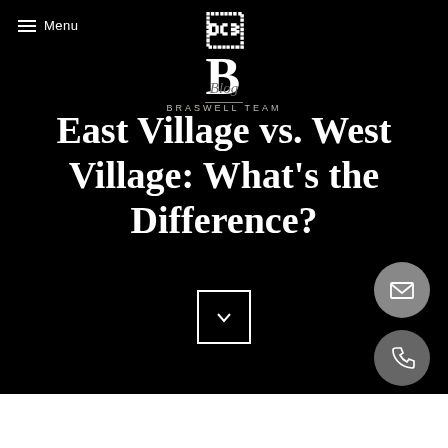Menu | BRASWELL TEAM
Blog
East Village vs. West Village: What's the Difference?